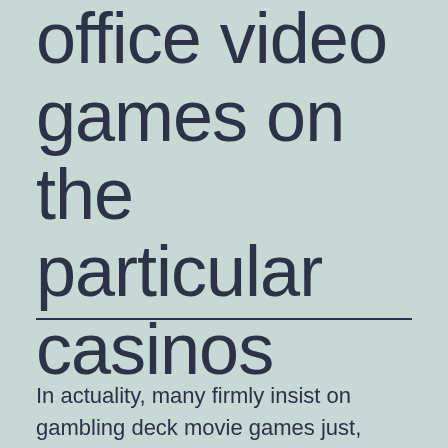office video games on the particular casinos
In actuality, many firmly insist on gambling deck movie games just, getting into the